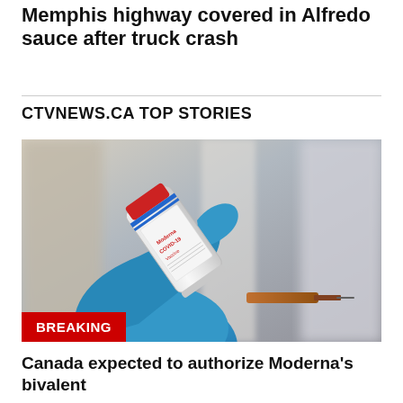Memphis highway covered in Alfredo sauce after truck crash
CTVNEWS.CA TOP STORIES
[Figure (photo): A gloved hand holding a Moderna COVID-19 vaccine vial with a syringe. The label reads 'Moderna COVID-19 Vaccine'. A red BREAKING badge is overlaid at the bottom left of the image.]
Canada expected to authorize Moderna's bivalent